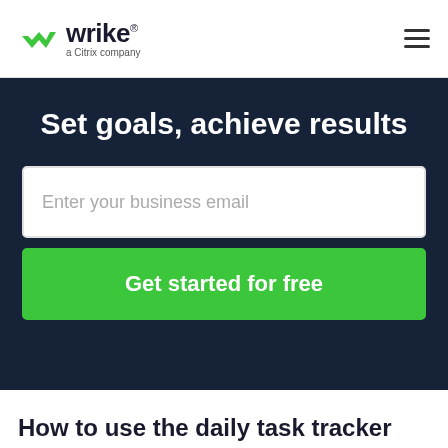[Figure (logo): Wrike logo — green checkmark icon with 'wrike' wordmark and 'a Citrix company' subtitle]
Set goals, achieve results
Enter your business email
Get started for free
How to use the daily task tracker